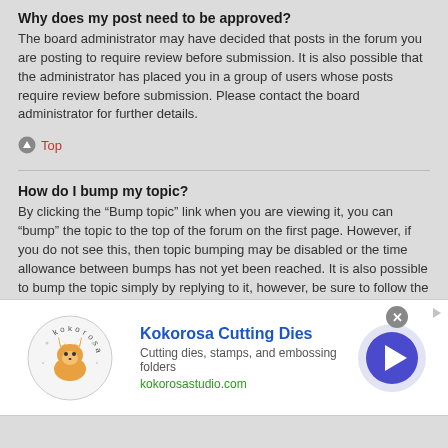Why does my post need to be approved?
The board administrator may have decided that posts in the forum you are posting to require review before submission. It is also possible that the administrator has placed you in a group of users whose posts require review before submission. Please contact the board administrator for further details.
Top
How do I bump my topic?
By clicking the “Bump topic” link when you are viewing it, you can “bump” the topic to the top of the forum on the first page. However, if you do not see this, then topic bumping may be disabled or the time allowance between bumps has not yet been reached. It is also possible to bump the topic simply by replying to it, however, be sure to follow the board rules when doing so.
Top
Formatting and Topic Types
[Figure (infographic): Advertisement banner for Kokorosa Cutting Dies featuring logo with fox mascot, title, description 'Cutting dies, stamps, and embossing folders', URL kokorosastudio.com, close button, and navigation arrow button]